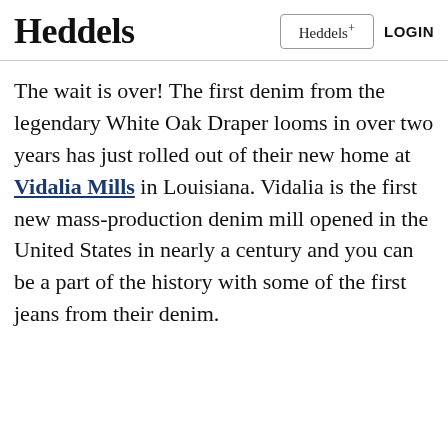Heddels   Heddels+   LOGIN
The wait is over! The first denim from the legendary White Oak Draper looms in over two years has just rolled out of their new home at Vidalia Mills in Louisiana. Vidalia is the first new mass-production denim mill opened in the United States in nearly a century and you can be a part of the history with some of the first jeans from their denim.